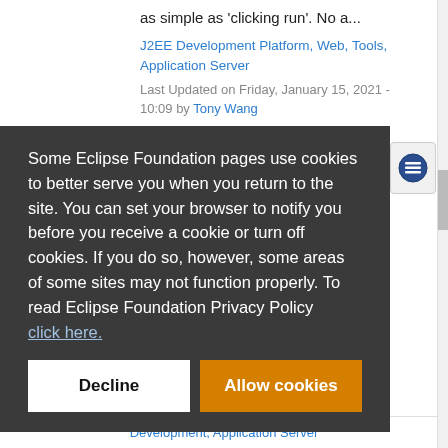as simple as 'clicking run'. No a...
J2EE Development Platform, Web, Tools, Application Server
Last Updated on Friday, January 15, 2021 - 10:09 by Tony Wang
Some Eclipse Foundation pages use cookies to better serve you when you return to the site. You can set your browser to notify you before you receive a cookie or turn off cookies. If you do so, however, some areas of some sites may not function properly. To read Eclipse Foundation Privacy Policy click here.
Decline
Allow cookies
Development, Application Server